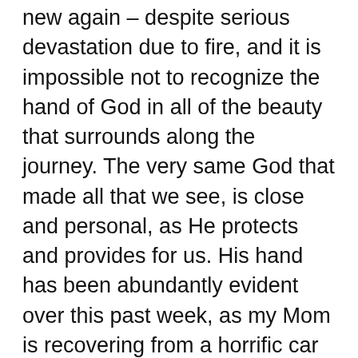new again – despite serious devastation due to fire, and it is impossible not to recognize the hand of God in all of the beauty that surrounds along the journey. The very same God that made all that we see, is close and personal, as He protects and provides for us. His hand has been abundantly evident over this past week, as my Mom is recovering from a horrific car accident that could have been far worse. Though her car was a total loss, she sustained only bruises and soreness, which is miraculous, considering the speed at which the other driver was doing when he barreled into her lane on a sharp corner. Our help comes from Him – the very same One who created all; as He helps and protects. May we